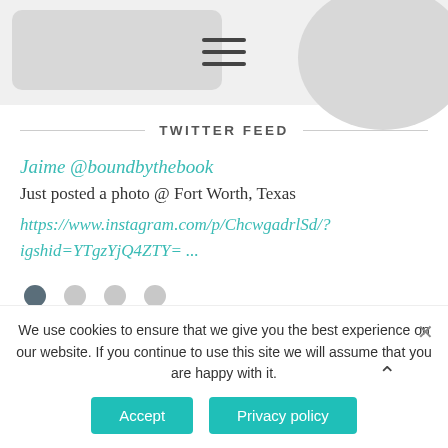[Figure (screenshot): Page header area with a gray rounded rectangle on the left, a gray circle on the right, and a hamburger menu icon (three horizontal lines) in the center]
TWITTER FEED
Jaime @boundbythebook
Just posted a photo @ Fort Worth, Texas
https://www.instagram.com/p/ChcwgadrlSd/?igshid=YTgzYjQ4ZTY= ...
[Figure (infographic): Carousel dots: one dark dot (active) followed by three light gray dots]
We use cookies to ensure that we give you the best experience on our website. If you continue to use this site we will assume that you are happy with it.
Accept
Privacy policy